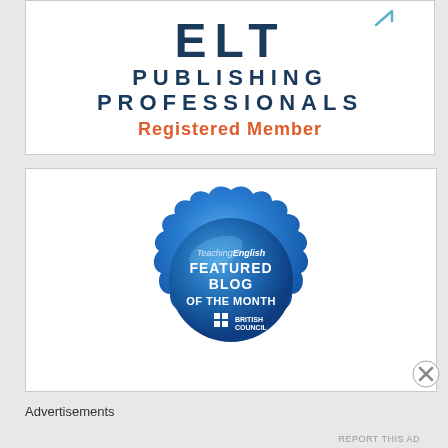[Figure (logo): ELT Publishing Professionals Registered Member badge with blue text and orange 'Registered Member' text]
[Figure (logo): TeachingEnglish Featured Blog of the Month blue wax seal badge from British Council]
Advertisements
REPORT THIS AD